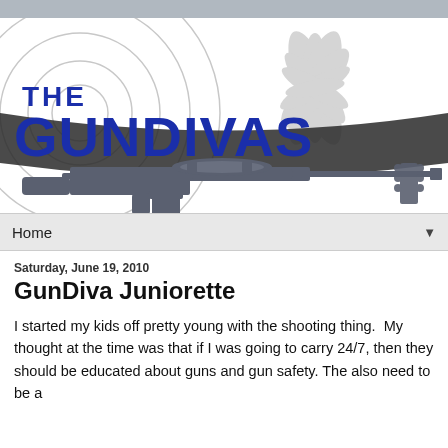[Figure (logo): The GunDivas blog header logo with large blue bold text 'THE GUNDIVAS', decorative circular target background, floral/feather gray motif, and a silhouette of a rifle with a guitar neck]
Home
Saturday, June 19, 2010
GunDiva Juniorette
I started my kids off pretty young with the shooting thing.  My thought at the time was that if I was going to carry 24/7, then they should be educated about guns and gun safety. The also need to be afraid from the commonly to a